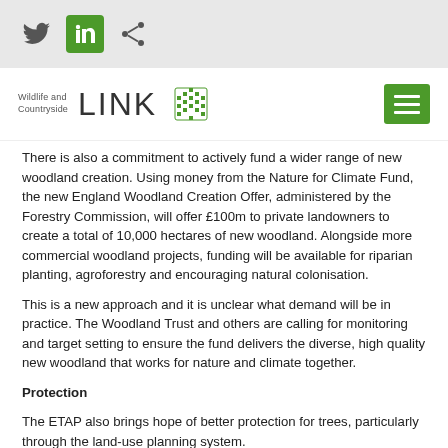Wildlife and Countryside LINK [logo with social icons: Twitter, LinkedIn, Share]
There is also a commitment to actively fund a wider range of new woodland creation. Using money from the Nature for Climate Fund, the new England Woodland Creation Offer, administered by the Forestry Commission, will offer £100m to private landowners to create a total of 10,000 hectares of new woodland. Alongside more commercial woodland projects, funding will be available for riparian planting, agroforestry and encouraging natural colonisation.
This is a new approach and it is unclear what demand will be in practice. The Woodland Trust and others are calling for monitoring and target setting to ensure the fund delivers the diverse, high quality new woodland that works for nature and climate together.
Protection
The ETAP also brings hope of better protection for trees, particularly through the land-use planning system.